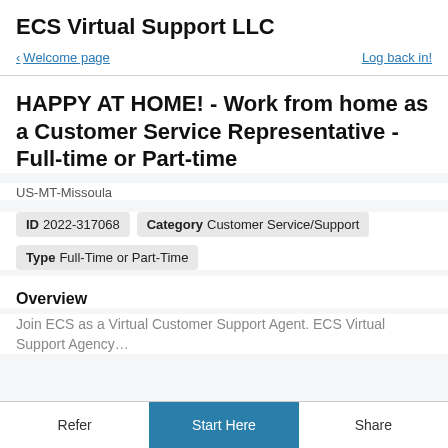ECS Virtual Support LLC
< Welcome page    Log back in!
HAPPY AT HOME! - Work from home as a Customer Service Representative - Full-time or Part-time
US-MT-Missoula
ID 2022-317068   Category Customer Service/Support
Type Full-Time or Part-Time
Overview
Join ECS as a Virtual Customer Support Agent. ECS Virtual Support Agency...
Refer   Start Here   Share